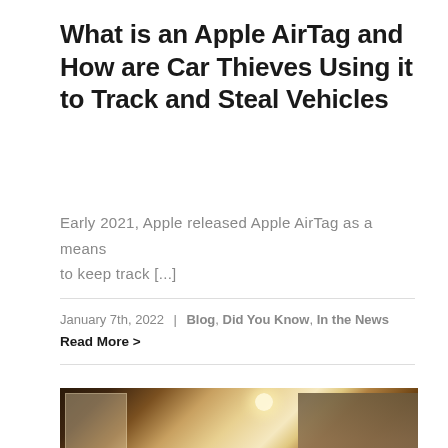What is an Apple AirTag and How are Car Thieves Using it to Track and Steal Vehicles
Early 2021, Apple released Apple AirTag as a means to keep track [...]
January 7th, 2022 | Blog, Did You Know, In the News
Read More >
[Figure (photo): Cozy Christmas living room interior with decorated tree, pendant light, and stockings hung on a fireplace mantle, warm golden ambient lighting]